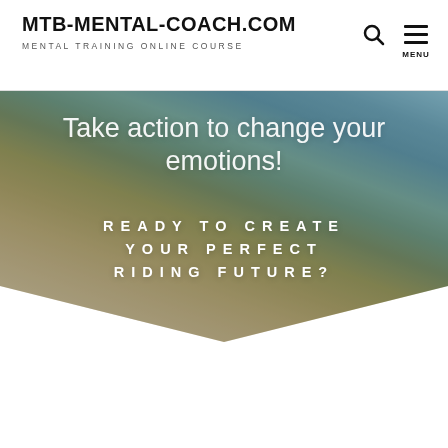MTB-MENTAL-COACH.COM — MENTAL TRAINING ONLINE COURSE
Take action to change your emotions!
READY TO CREATE YOUR PERFECT RIDING FUTURE?
[Figure (photo): Mountain bike rider performing a jump or stunt on a dirt trail, outdoor setting with trees and sandy terrain. Image is clipped in a diamond/chevron shape.]